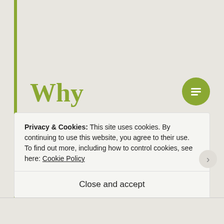Why Tynickia Thompson Murdered John Hancock, His Mom Helen | Crime News
Privacy & Cookies: This site uses cookies. By continuing to use this website, you agree to their use.
To find out more, including how to control cookies, see here: Cookie Policy
Close and accept